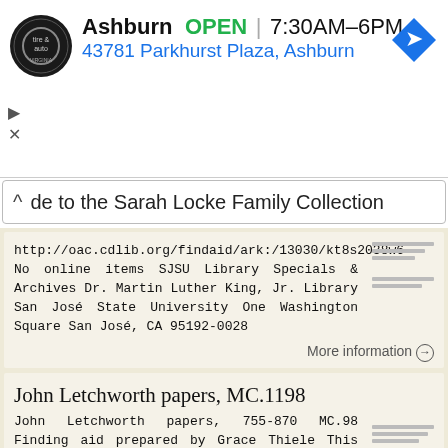[Figure (other): Advertisement banner for Virginia tire & auto shop in Ashburn showing logo, OPEN status, hours 7:30AM-6PM, and address 43781 Parkhurst Plaza, Ashburn with navigation arrow icon]
de to the Sarah Locke Family Collection
http://oac.cdlib.org/findaid/ark:/13030/kt8s2038w6 No online items SJSU Library Specials & Archives Dr. Martin Luther King, Jr. Library San José State University One Washington Square San José, CA 95192-0028
More information →
John Letchworth papers, MC.1198
John Letchworth papers, 755-870 MC.98 Finding aid prepared by Grace Thiele This finding aid was produced using the Archivists' Toolkit December 2, 204 Haverford College Quaker & Special Collections July,